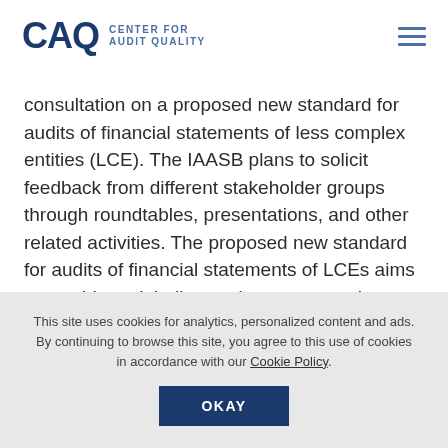CAQ CENTER FOR AUDIT QUALITY
consultation on a proposed new standard for audits of financial statements of less complex entities (LCE). The IAASB plans to solicit feedback from different stakeholder groups through roundtables, presentations, and other related activities. The proposed new standard for audits of financial statements of LCEs aims to provide a globally consistent approach at a time when several jurisdictional-specific LCE standards or related initiatives are being introduced.
This site uses cookies for analytics, personalized content and ads. By continuing to browse this site, you agree to this use of cookies in accordance with our Cookie Policy.
OKAY